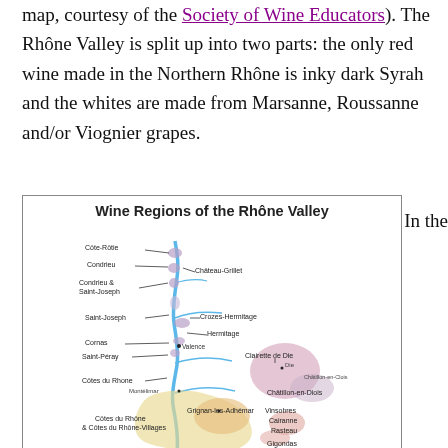map, courtesy of the Society of Wine Educators). The Rhône Valley is split up into two parts: the only red wine made in the Northern Rhône is inky dark Syrah and the whites are made from Marsanne, Roussanne and/or Viognier grapes.
[Figure (map): Wine Regions of the Rhône Valley map showing various appellations including Côte-Rôtie, Condrieu, Château-Grillet, Condrieu & Saint-Joseph, Saint-Joseph, Crozes-Hermitage, Hermitage, Cornas, Saint-Péray, Côtes du Rhone, Clairette de Die, Châtillon-en-Diois, Grignan-les-Adhémar, Vinsobres, Cairanne, Rasteau, Gigondas, Côtes du Rhône & Côtes du Rhône-Villages]
In the